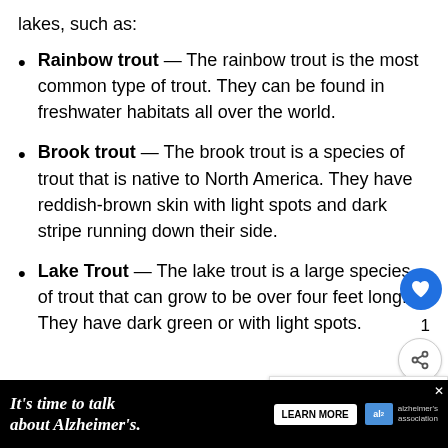lakes, such as:
Rainbow trout — The rainbow trout is the most common type of trout. They can be found in freshwater habitats all over the world.
Brook trout — The brook trout is a species of trout that is native to North America. They have reddish-brown skin with light spots and dark stripe running down their side.
Lake Trout — The lake trout is a large species of trout that can grow to be over four feet long. They have dark green or with light spots.
It's time to talk about Alzheimer's. LEARN MORE